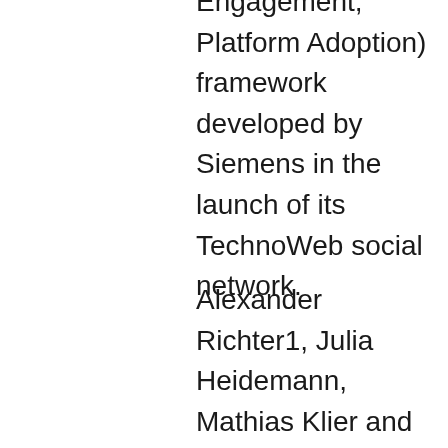Engagement, Platform Adoption) framework developed by Siemens in the launch of its TechnoWeb social network.
Alexander Richter1, Julia Heidemann, Mathias Klier and Sebastian Behrendt at the Universities of Munich and Regensberg presented a paper at 11th International Conference on Wirtschaftsinformatik in 2013 which exemplifies the benefits of academic research linked into practical testing. Their approach is